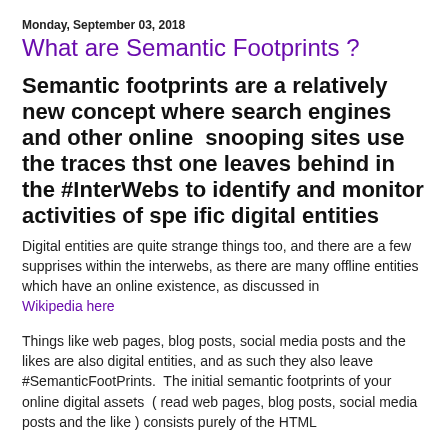Monday, September 03, 2018
What are Semantic Footprints ?
Semantic footprints are a relatively new concept where search engines and other online  snooping sites use the traces thst one leaves behind in the #InterWebs to identify and monitor activities of spe ific digital entities
Digital entities are quite strange things too, and there are a few supprises within the interwebs, as there are many offline entities which have an online existence, as discussed in Wikipedia here
Things like web pages, blog posts, social media posts and the likes are also digital entities, and as such they also leave #SemanticFootPrints.  The initial semantic footprints of your online digital assets  ( read web pages, blog posts, social media posts and the like ) consists purely of the HTML